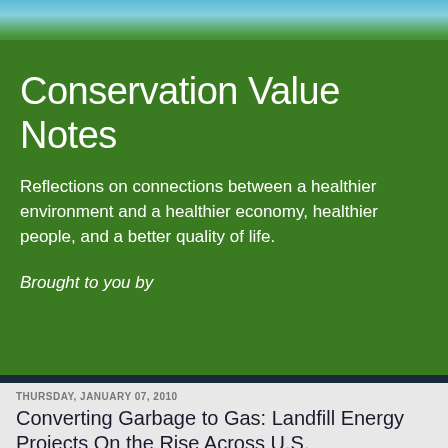[Figure (photo): Header image showing sky and landscape blending into green banner background]
Conservation Value Notes
Reflections on connections between a healthier environment and a healthier economy, healthier people, and a better quality of life.
Brought to you by
THURSDAY, JANUARY 07, 2010
Converting Garbage to Gas: Landfill Energy Projects On the Rise Across U.S.